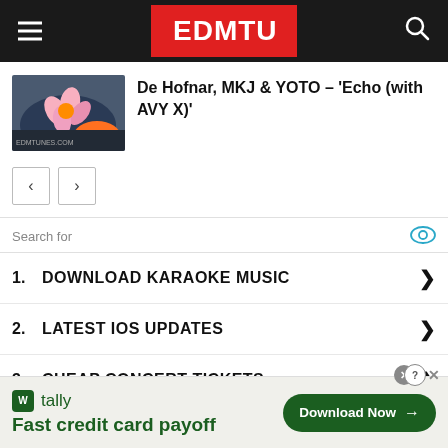EDMTUNES
De Hofnar, MKJ & YOTO – 'Echo (with AVY X)'
[Figure (photo): Thumbnail image of a flower with colorful abstract background]
Search for
1. DOWNLOAD KARAOKE MUSIC
2. LATEST IOS UPDATES
3. CHEAP CONCERT TICKETS
[Figure (infographic): Tally app advertisement: Fast credit card payoff — Download Now button]